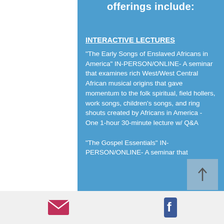offerings include:
INTERACTIVE LECTURES
"The Early Songs of Enslaved Africans in America" IN-PERSON/ONLINE- A seminar that examines rich West/West Central African musical origins that gave momentum to the folk spiritual, field hollers, work songs, children's songs, and ring shouts created by Africans in America - One 1-hour 30-minute lecture w/ Q&A
"The Gospel Essentials" IN-PERSON/ONLINE- A seminar that
Email icon | Facebook icon